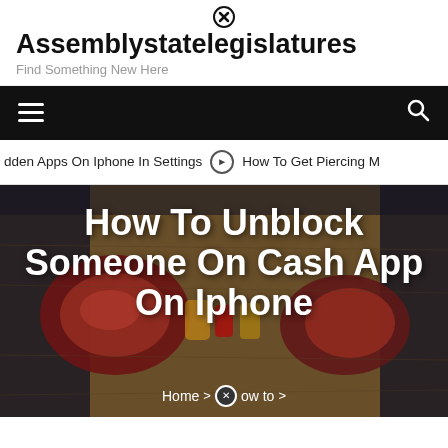Assemblystatelegislatures
Find Something New Here
[Figure (screenshot): Black navigation bar with hamburger menu icon on left and search icon on right]
dden Apps On Iphone In Settings  ⊙  How To Get Piercing M
[Figure (photo): Hero image showing raw meat steaks on a wooden cutting board with the title 'How To Unblock Someone On Cash App On Iphone' overlaid in white bold text]
Home > ⊗ ow to >